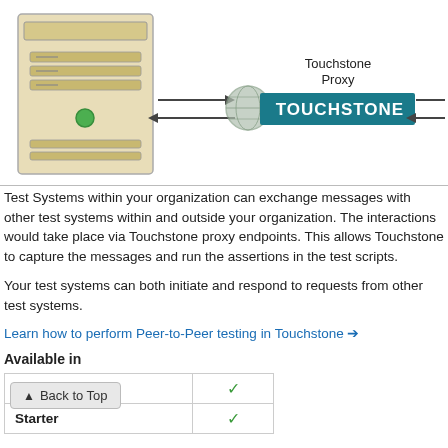[Figure (schematic): Network diagram showing a server on the left connected via arrows through a Touchstone Proxy logo in the center, with arrows going to/from an entity on the right (partially visible). Label 'Touchstone Proxy' appears above the logo.]
Test Systems within your organization can exchange messages with other test systems within and outside your organization. The interactions would take place via Touchstone proxy endpoints. This allows Touchstone to capture the messages and run the assertions in the test scripts.
Your test systems can both initiate and respond to requests from other test systems.
Learn how to perform Peer-to-Peer testing in Touchstone ➔
Available in
|  |  |
| --- | --- |
| Open Free | ✓ |
| Starter | ✓ |